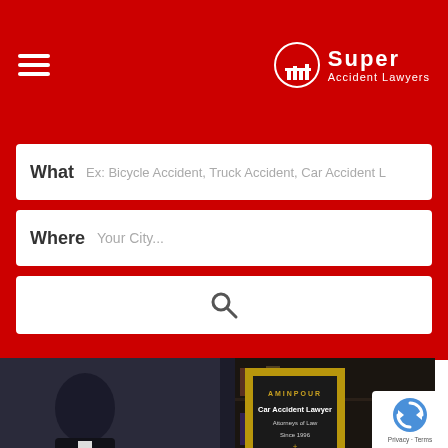Super Accident Lawyers
What  Ex: Bicycle Accident, Truck Accident, Car Accident L
Where  Your City...
[Figure (screenshot): Search button with magnifying glass icon]
[Figure (photo): Photo of King Aminpour, a lawyer in a suit with red tie, with a gold shield plaque showing AMINPOUR Car Accident Lawyer, Attorneys of Law, Since 1996, 317 Ash St, San Diego, CA 92101, USA, (619) 333-3333]
Personal Injury Lawyer
King Aminpour Accident Lawyer
317 Ash St San Diego, CA 92101 USA